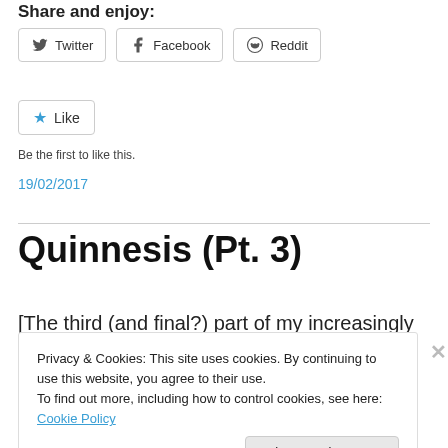Share and enjoy:
[Figure (other): Social sharing buttons: Twitter, Facebook, Reddit]
[Figure (other): Like button with star icon]
Be the first to like this.
19/02/2017
Quinnesis (Pt. 3)
[The third (and final?) part of my increasingly drawn-out
Privacy & Cookies: This site uses cookies. By continuing to use this website, you agree to their use.
To find out more, including how to control cookies, see here: Cookie Policy